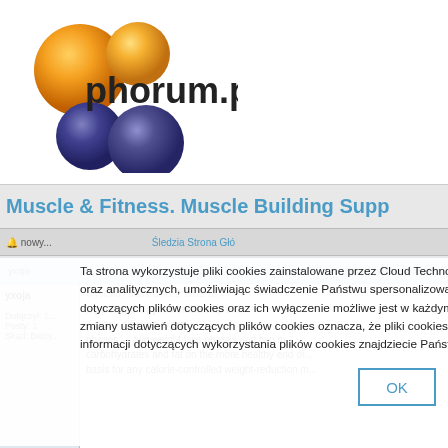[Figure (logo): phorum.pl logo with orange and dark blue/purple spheres arranged in triangle pattern with 'phorum.pl' text]
Muscle & Fitness. Muscle Building Supp
Ta strona wykorzystuje pliki cookies zainstalowane przez Cloud Technologies lub podmioty trzecie do celów statystycznych, marketingowych oraz analitycznych, umożliwiając świadczenie Państwu spersonalizowanych usług reklamowych na odwiedzanych stronach. Zmiana ustawień dotyczących plików cookies oraz ich wyłączenie możliwe jest w każdym czasie za pomocą ustawień przeglądarki. Korzystanie z tej strony bez zmiany ustawień dotyczących plików cookies oznacza, że pliki cookies będą umieszczane w Państwa urządzeniu końcowym. Więcej informacji dotyczących wykorzystania plików cookies znajdziecie Państwo w naszej Polityce Prywatności.
yxoja
Dołączył: 2...
Posty: 1
Skąd: Belzy...
...purchase a gym membership of...
...many different exerc...
phases — two weight loss phases and two m...
carbohydrates and fat on the more healthy end of...
basis for any calorie-controlled weight-reduction m...